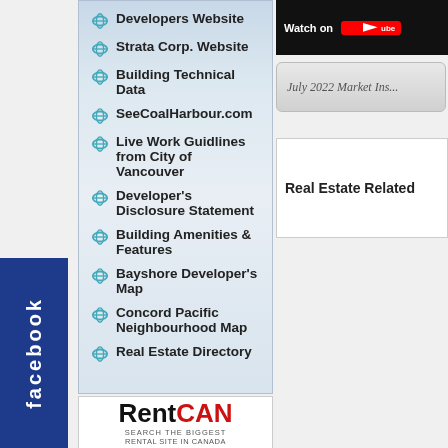Developers Website
Strata Corp. Website
Building Technical Data
SeeCoalHarbour.com
Live Work Guidlines from City of Vancouver
Developer's Disclosure Statement
Building Amenities & Features
Bayshore Developer's Map
Concord Pacific Neighbourhood Map
Real Estate Directory
[Figure (logo): RentCAN logo with tagline SEARCH THE BIGGEST RENTAL SITE IN CANADA]
[Figure (screenshot): YouTube Watch On panel (partial, cropped)]
July 2022 Market Ins...
Real Estate Related